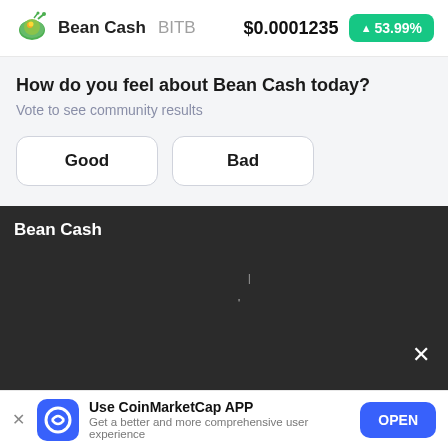Bean Cash BITB  $0.0001235  ▲53.99%
How do you feel about Bean Cash today?
Vote to see community results
Good
Bad
Bean Cash
[Figure (continuous-plot): Dark background price chart for Bean Cash with a few faint tick marks visible on a nearly flat/dark candlestick chart area]
Use CoinMarketCap APP  Get a better and more comprehensive user experience  OPEN